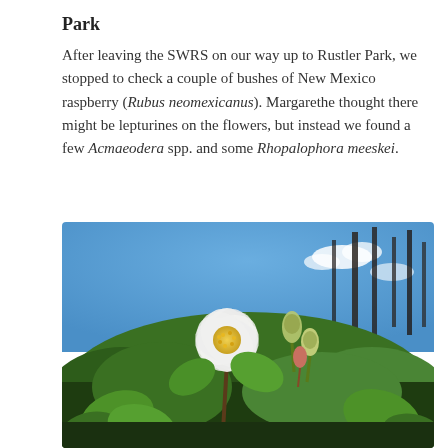Park
After leaving the SWRS on our way up to Rustler Park, we stopped to check a couple of bushes of New Mexico raspberry (Rubus neomexicanus). Margarethe thought there might be lepturines on the flowers, but instead we found a few Acmaeodera spp. and some Rhopalophora meeskei.
[Figure (photo): Close-up photograph of a white flower (New Mexico raspberry, Rubus neomexicanus) in bloom with yellow stamens, set against a blue sky background with dead tree trunks and green foliage in the foreground.]